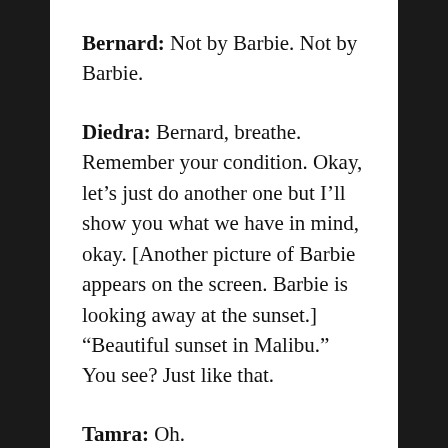Bernard: Not by Barbie. Not by Barbie.
Diedra: Bernard, breathe. Remember your condition. Okay, let's just do another one but I'll show you what we have in mind, okay. [Another picture of Barbie appears on the screen. Barbie is looking away at the sunset.] “Beautiful sunset in Malibu.” You see? Just like that.
Tamra: Oh.
Michael: Sure.
Donald: I like it.